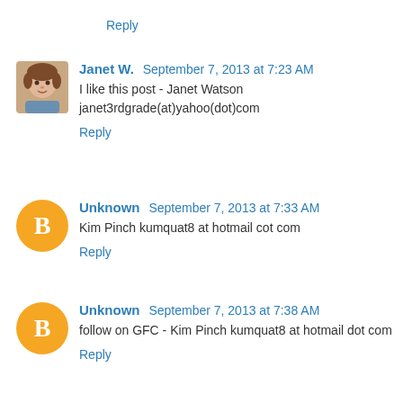Reply
Janet W.  September 7, 2013 at 7:23 AM
I like this post - Janet Watson janet3rdgrade(at)yahoo(dot)com
Reply
Unknown  September 7, 2013 at 7:33 AM
Kim Pinch kumquat8 at hotmail cot com
Reply
Unknown  September 7, 2013 at 7:38 AM
follow on GFC - Kim Pinch kumquat8 at hotmail dot com
Reply